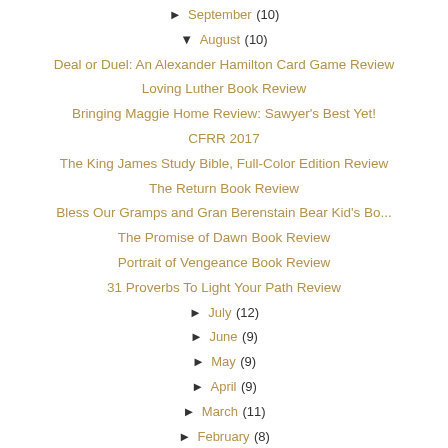► September (10)
▼ August (10)
Deal or Duel: An Alexander Hamilton Card Game Review
Loving Luther Book Review
Bringing Maggie Home Review: Sawyer's Best Yet!
CFRR 2017
The King James Study Bible, Full-Color Edition Review
The Return Book Review
Bless Our Gramps and Gran Berenstain Bear Kid's Bo...
The Promise of Dawn Book Review
Portrait of Vengeance Book Review
31 Proverbs To Light Your Path Review
► July (12)
► June (9)
► May (9)
► April (9)
► March (11)
► February (8)
► January (8)
► 2016 (152)
► 2015 (195)